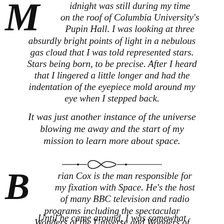M idnight was still during my time on the roof of Columbia University's Pupin Hall. I was looking at three absurdly bright points of light in a nebulous gas cloud that I was told represented stars. Stars being born, to be precise. After I heard that I lingered a little longer and had the indentation of the eyepiece mold around my eye when I stepped back.
It was just another instance of the universe blowing me away and the start of my mission to learn more about space.
[Figure (illustration): Decorative typographic divider: a centered ornamental flourish with an infinity-like knot and dashes]
Brian Cox is the man responsible for my fixation with Space. He's the host of many BBC television and radio programs including the spectacular Wonders of the Universe and Wonders of the Solar System series.
Until he came around, I was somewhat interested in the space... I'd read half a...